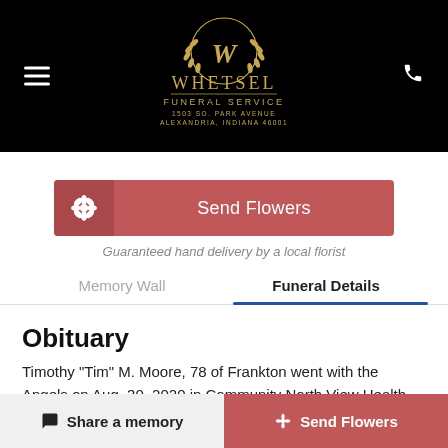[Figure (logo): Whetsel Funeral Service logo — gold laurel wreath with stylized W, on black background. Text: WHETSEL FUNERAL SERVICE, 1503 SO. PARK AVENUE, ALEXANDRIA, INDIANA 46001]
Send Flowers
Guaranteed hand delivery by a local florist
Memory Wall
Funeral Details
Obituary
Timothy “Tim” M. Moore, 78 of Frankton went with the Angels on Aug. 30, 2020 in Community North View Health Care, Anderson, Indiana after an extended ...
Share a memory
Send Flowers